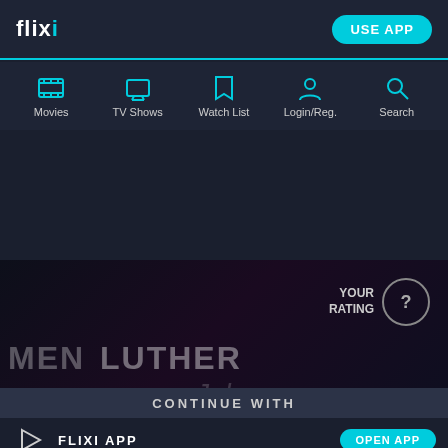[Figure (screenshot): Flixi streaming website header with logo, USE APP button, and navigation bar containing Movies, TV Shows, Watch List, Login/Reg., and Search icons]
[Figure (screenshot): Hero image area showing dark background with overlaid text MEN LUTHER Jobs and flixi logo watermark, with YOUR RATING ? badge in top right]
CONTINUE WITH
FLIXI APP
CHROME